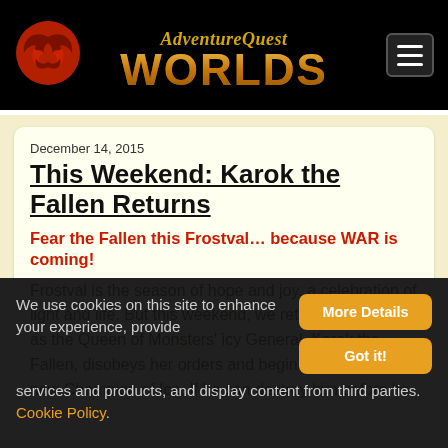AdventureQuest Worlds
December 14, 2015
This Weekend: Karok the Fallen Returns
Fear the Fallen this Frostval... because WAR is coming!
Frostval is the season of hope and joy, a celebration of light and life. But this weekend, we return to Drakonus as the Queen of Monsters' icy General, Karok the Fallen, disobeys her orders and begins hunting for the new Champion of Ice. If he can destroy him before he
We use cookies on this site to enhance your experience, provide services and products, and display content from third parties. Cookie Policy.